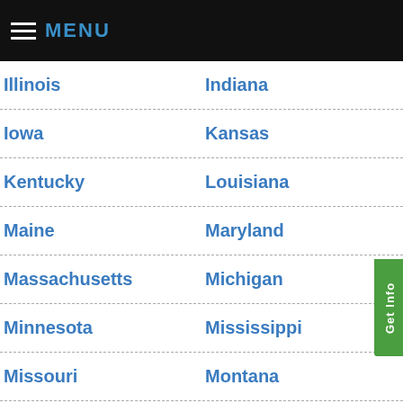MENU
Illinois
Indiana
Iowa
Kansas
Kentucky
Louisiana
Maine
Maryland
Massachusetts
Michigan
Minnesota
Mississippi
Missouri
Montana
Nebraska
Nevada
New Hampshire
New Jersey